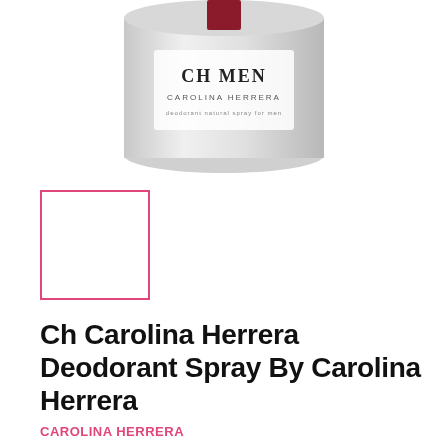[Figure (photo): Top portion of a CH Men Carolina Herrera deodorant spray can, gray/silver cylindrical container with red square logo on top, shown cropped at the top of the page]
[Figure (photo): Small thumbnail placeholder box with pink/red border, empty white interior]
Ch Carolina Herrera Deodorant Spray By Carolina Herrera
CAROLINA HERRERA
Size: 5 oz Deodorant Spray
5 oz Deodorant Spray